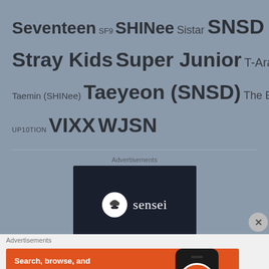Seventeen  SF9  SHINee  Sistar  SNSD  Stray Kids  Super Junior  T-Ara  Taemin (SHINee)  Taeyeon (SNSD)  The Boyz  TWICE  UP10TION  VIXX  WJSN
[Figure (screenshot): Sensei advertisement banner with dark background showing white circle logo with tree/bonsai icon and 'sensei' text]
[Figure (screenshot): DuckDuckGo advertisement banner with orange background. Text: 'Search, browse, and email with more privacy. All in One Free App'. Shows DuckDuckGo phone app mockup.]